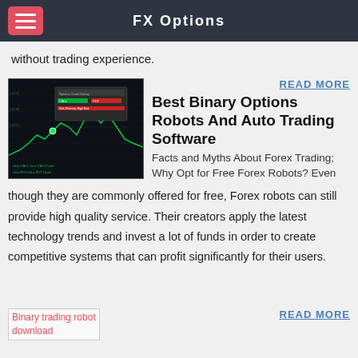FX Options
without trading experience.
[Figure (screenshot): Screenshot of a binary options trading platform showing a candlestick/line chart with green markers and a trade dialog box]
READ MORE
Best Binary Options Robots And Auto Trading Software
Facts and Myths About Forex Trading; Why Opt for Free Forex Robots? Even though they are commonly offered for free, Forex robots can still provide high quality service. Their creators apply the latest technology trends and invest a lot of funds in order to create competitive systems that can profit significantly for their users.
[Figure (screenshot): Broken image placeholder for Binary trading robot download]
READ MORE
Login - Binary Option Robot | Automated Trading Software